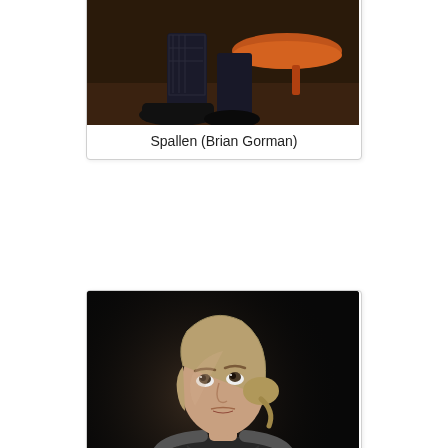[Figure (photo): Partial view of a theatre stage scene showing legs and an orange stool, dark tones.]
Spallen (Brian Gorman)
[Figure (photo): A woman in a speckled/patterned dress on a dark stage, looking upward and to the side with an intense expression, hair pulled back.]